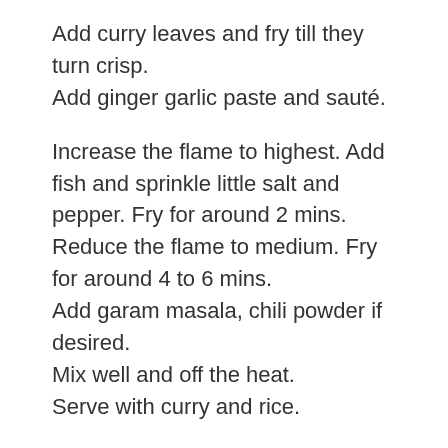Add curry leaves and fry till they turn crisp.
Add ginger garlic paste and sauté.
Increase the flame to highest. Add fish and sprinkle little salt and pepper. Fry for around 2 mins.
Reduce the flame to medium. Fry for around 4 to 6 mins.
Add garam masala, chili powder if desired.
Mix well and off the heat.
Serve with curry and rice.
Find more fish fry recipes on the blog